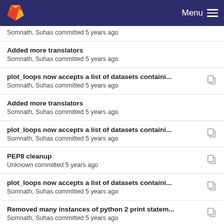Menu
Somnath, Suhas committed 5 years ago
Added more translators
Somnath, Suhas committed 5 years ago
plot_loops now accepts a list of datasets containi...
Somnath, Suhas committed 5 years ago
Added more translators
Somnath, Suhas committed 5 years ago
plot_loops now accepts a list of datasets containi...
Somnath, Suhas committed 5 years ago
PEP8 cleanup
Unknown committed 5 years ago
plot_loops now accepts a list of datasets containi...
Somnath, Suhas committed 5 years ago
Removed many instances of python 2 print statem...
Somnath, Suhas committed 5 years ago